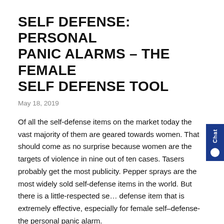SELF DEFENSE: PERSONAL PANIC ALARMS – THE FEMALE SELF DEFENSE TOOL
May 18, 2019
Of all the self-defense items on the market today the vast majority of them are geared towards women. That should come as no surprise because women are the targets of violence in nine out of ten cases. Tasers probably get the most publicity. Pepper sprays are the most widely sold self-defense items in the world. But there is a little-respected self defense item that is extremely effective, especially for female self–defense-the personal panic alarm.
Some people call it a loud noisemaker. Perhaps that's a good enough description. Generally speaking they are small hand-held battery-operated devices that emit a very loud noise